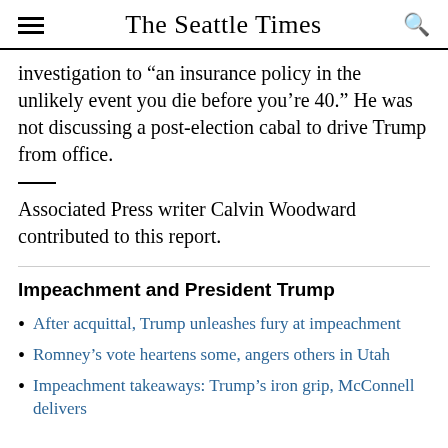The Seattle Times
investigation to “an insurance policy in the unlikely event you die before you’re 40.” He was not discussing a post-election cabal to drive Trump from office.
Associated Press writer Calvin Woodward contributed to this report.
Impeachment and President Trump
After acquittal, Trump unleashes fury at impeachment
Romney’s vote heartens some, angers others in Utah
Impeachment takeaways: Trump’s iron grip, McConnell delivers